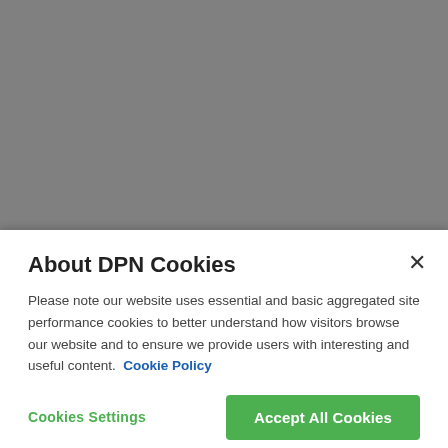[Figure (screenshot): Gray background area representing a blurred/obscured webpage behind a cookie consent modal dialog]
About DPN Cookies
Please note our website uses essential and basic aggregated site performance cookies to better understand how visitors browse our website and to ensure we provide users with interesting and useful content. Cookie Policy
Cookies Settings
Accept All Cookies